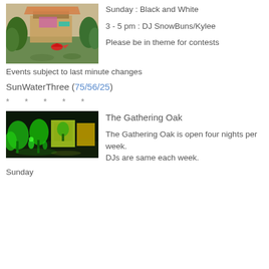[Figure (photo): Virtual world scene with trees, colorful structure, and a red parrot/bird flying, ground with green foliage]
Sunday : Black and White
3 - 5 pm : DJ SnowBuns/Kylee
Please be in theme for contests
Events subject to last minute changes
SunWaterThree (75/56/25)
* * * * *
[Figure (photo): Virtual world nightclub/gathering scene with neon green trees, avatars, and glowing art pieces]
The Gathering Oak
The Gathering Oak is open four nights per week.
DJs are same each week.
Sunday